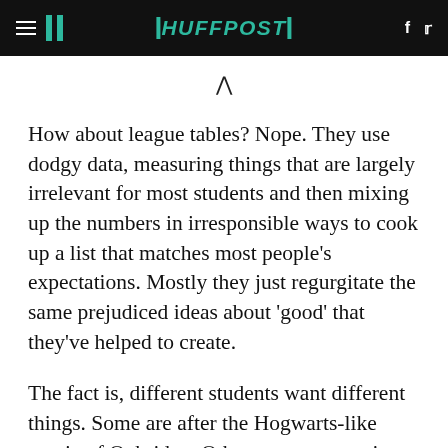HUFFPOST
How about league tables? Nope. They use dodgy data, measuring things that are largely irrelevant for most students and then mixing up the numbers in irresponsible ways to cook up a list that matches most people's expectations. Mostly they just regurgitate the same prejudiced ideas about 'good' that they've helped to create.
The fact is, different students want different things. Some are after the Hogwarts-like magic of Oxbridge. Others want a part-time course near